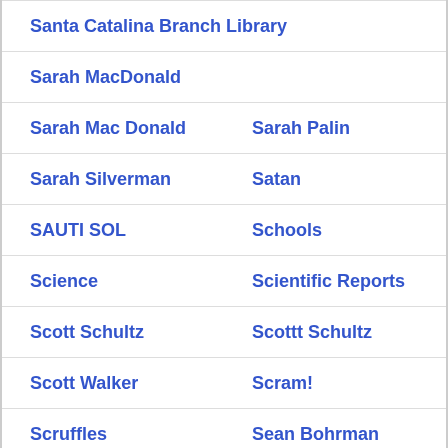Santa Catalina Branch Library
Sarah MacDonald
Sarah Mac Donald   Sarah Palin
Sarah Silverman   Satan
SAUTI SOL   Schools
Science   Scientific Reports
Scott Schultz   Scottt Schultz
Scott Walker   Scram!
Scruffles   Sean Bohrman
Sean Burger   Sean Carnage
Secretary   semen